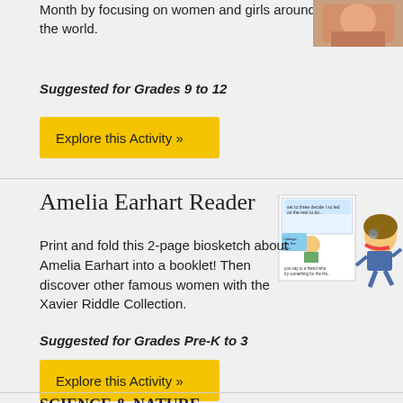Month by focusing on women and girls around the world.
[Figure (photo): Photo of a woman (partially visible, warm tones)]
Suggested for Grades 9 to 12
Explore this Activity »
Amelia Earhart Reader
[Figure (illustration): Illustration of cartoon character Xavier Riddle and Amelia Earhart with a booklet/biosketch]
Print and fold this 2-page biosketch about Amelia Earhart into a booklet! Then discover other famous women with the Xavier Riddle Collection.
Suggested for Grades Pre-K to 3
Explore this Activity »
SCIENCE & NATURE